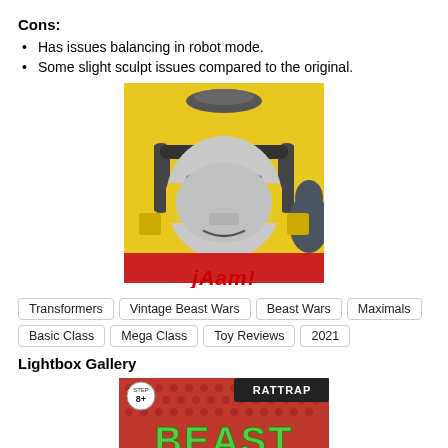Cons:
Has issues balancing in robot mode.
Some slight sculpt issues compared to the original.
[Figure (illustration): Cartoon illustration of a yellow robot face with blue eyes and headphones, giving a thumbs up. Below the image is the text 'jAam!' in red italic script.]
Transformers  Vintage Beast Wars  Beast Wars  Maximals  Basic Class  Mega Class  Toy Reviews  2021
Lightbox Gallery
[Figure (photo): Partial image of a Beast Wars Rattrap toy packaging, showing red textured background with 'BEAST' text in green and 'RATTRAP' label on a dark banner. Age rating 8+ shown.]